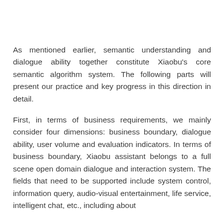As mentioned earlier, semantic understanding and dialogue ability together constitute Xiaobu's core semantic algorithm system. The following parts will present our practice and key progress in this direction in detail.
First, in terms of business requirements, we mainly consider four dimensions: business boundary, dialogue ability, user volume and evaluation indicators. In terms of business boundary, Xiaobu assistant belongs to a full scene open domain dialogue and interaction system. The fields that need to be supported include system control, information query, audio-visual entertainment, life service, intelligent chat, etc., including about